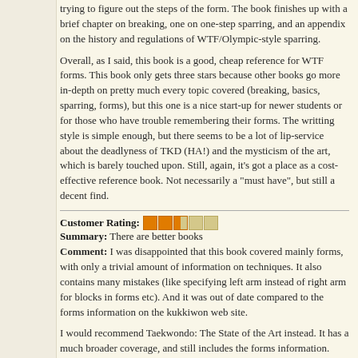trying to figure out the steps of the form. The book finishes up with a brief chapter on breaking, one on one-step sparring, and an appendix on the history and regulations of WTF/Olympic-style sparring.
Overall, as I said, this book is a good, cheap reference for WTF forms. This book only gets three stars because other books go more in-depth on pretty much every topic covered (breaking, basics, sparring, forms), but this one is a nice start-up for newer students or for those who have trouble remembering their forms. The writting style is simple enough, but there seems to be a lot of lip-service about the deadlyness of TKD (HA!) and the mysticism of the art, which is barely touched upon. Still, again, it's got a place as a cost-effective reference book. Not necessarily a "must have", but still a decent find.
Customer Rating: [3 stars] Summary: There are better books Comment: I was disappointed that this book covered mainly forms, with only a trivial amount of information on techniques. It also contains many mistakes (like specifying left arm instead of right arm for blocks in forms etc). And it was out of date compared to the forms information on the kukkiwon web site.

I would recommend Taekwondo: The State of the Art instead. It has a much broader coverage, and still includes the forms information.
Customer Rating: [4 stars] Summary: Perfect....... Comment: The manual clearly shows all positions and movements for all froms, it has also identified a couple of bad habits that I have picked up over the years that I will need to work on.

This manual is a must for everyone that is serious